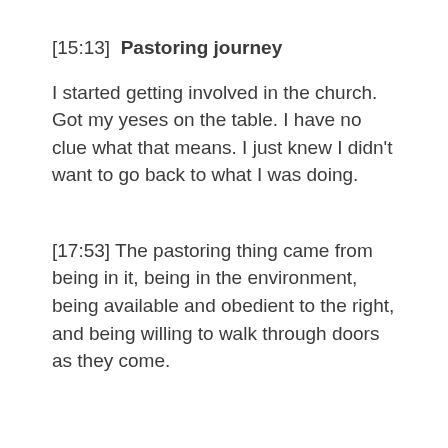[15:13]  Pastoring journey
I started getting involved in the church. Got my yeses on the table. I have no clue what that means. I just knew I didn't want to go back to what I was doing.
[17:53] The pastoring thing came from being in it, being in the environment, being available and obedient to the right, and being willing to walk through doors as they come.